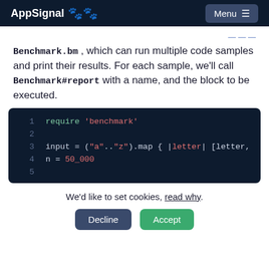AppSignal  Menu
Benchmark.bm , which can run multiple code samples and print their results. For each sample, we'll call Benchmark#report with a name, and the block to be executed.
[Figure (screenshot): Code block showing Ruby benchmark code: line 1: require 'benchmark', line 2: blank, line 3: input = ("a".."z").map { |letter| [letter,, line 4: n = 50_000, line 5: blank]
We'd like to set cookies, read why.
Decline   Accept